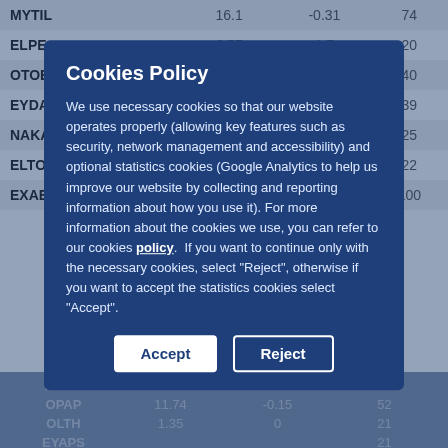|  |  |  |  |
| --- | --- | --- | --- |
| MYTIL | 16.1 | -0.31 | 74 |
| ELPE | 6.57 | 1.7 | 20 |
| OTOEL | 9.5 | 0 | 40 |
| EYDAP | 7.9 | -0.75 | 39 |
| NAKAS | 2.08 | 0 | 25 |
| ELTON | 1.8 | 0 | 22 |
| EXAE | 3.445 | 1.03 | 100 |
| ASCC | ~5.04 | ~-1.45 | ~88 |
| OPAP | ~11.74 | -0.15 | 52 |
| OLTH | ~1.35 | 0 | 21 |
| EYAPS | ... | ... | 21 |
| ANDRO | ... | ... | 74 |
| PPA | ... | ... | 25 |
| KRI | ... | ... | 38 |
Cookies Policy

We use necessary cookies so that our website operates properly (allowing key features such as security, network management and accessibility) and optional statistics cookies (Google Analytics to help us improve our website by collecting and reporting information about how you use it). For more information about the cookies we use, you can refer to our cookies policy. If you want to continue only with the necessary cookies, select "Reject", otherwise if you want to accept the statistics cookies select "Accept".